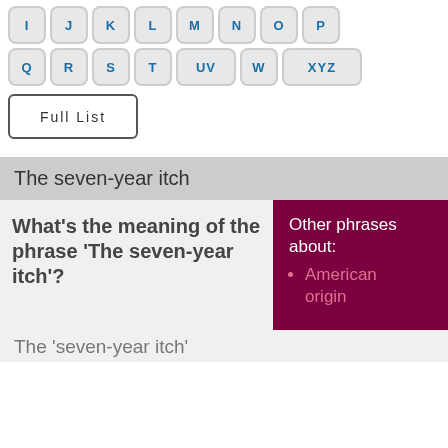[Figure (screenshot): Alphabet navigation buttons row 1: I J K L M N O P]
[Figure (screenshot): Alphabet navigation buttons row 2: Q R S T UV W XYZ]
[Figure (screenshot): Full List button]
The seven-year itch
What's the meaning of the phrase 'The seven-year itch'?
Other phrases about:
• American origin
The 'seven-year itch'